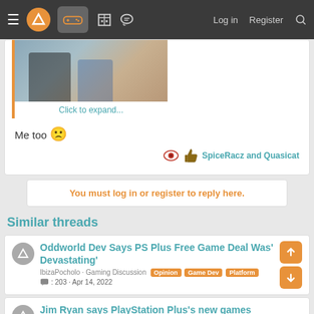Navigation bar with menu, logo, gamepad icon, building icon, chat icon, Log in, Register, Search
[Figure (photo): Partial photo of people, cut off at top, with orange left border]
Click to expand...
Me too 😟
SpiceRacz and Quasicat
You must log in or register to reply here.
Similar threads
Oddworld Dev Says PS Plus Free Game Deal Was' Devastating'
IbizaPocholo · Gaming Discussion Opinion Game Dev Platform
💬 : 203 · Apr 14, 2022
Jim Ryan says PlayStation Plus's new games